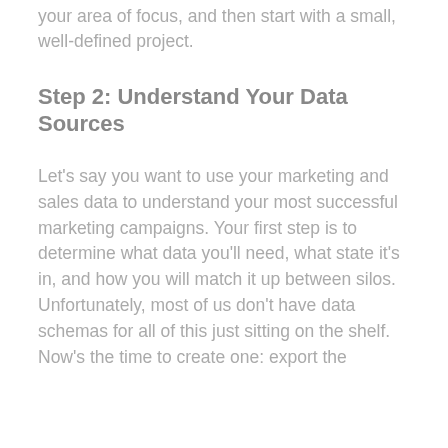your area of focus, and then start with a small, well-defined project.
Step 2: Understand Your Data Sources
Let's say you want to use your marketing and sales data to understand your most successful marketing campaigns. Your first step is to determine what data you'll need, what state it's in, and how you will match it up between silos. Unfortunately, most of us don't have data schemas for all of this just sitting on the shelf. Now's the time to create one: export the